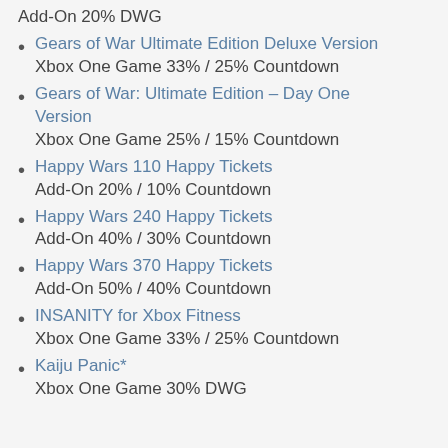Add-On 20% DWG
Gears of War Ultimate Edition Deluxe Version
Xbox One Game 33% / 25% Countdown
Gears of War: Ultimate Edition – Day One Version
Xbox One Game 25% / 15% Countdown
Happy Wars 110 Happy Tickets
Add-On 20% / 10% Countdown
Happy Wars 240 Happy Tickets
Add-On 40% / 30% Countdown
Happy Wars 370 Happy Tickets
Add-On 50% / 40% Countdown
INSANITY for Xbox Fitness
Xbox One Game 33% / 25% Countdown
Kaiju Panic*
Xbox One Game 30% DWG